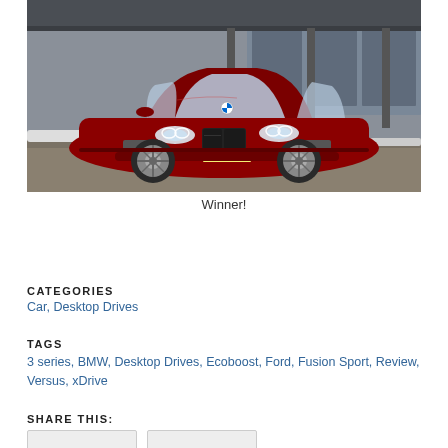[Figure (photo): Red BMW 3 Series sedan parked in front of a building with large glass windows. The car has a New Jersey license plate reading J99+EGY. Snow is visible in the background.]
Winner!
CATEGORIES
Car, Desktop Drives
TAGS
3 series, BMW, Desktop Drives, Ecoboost, Ford, Fusion Sport, Review, Versus, xDrive
SHARE THIS: